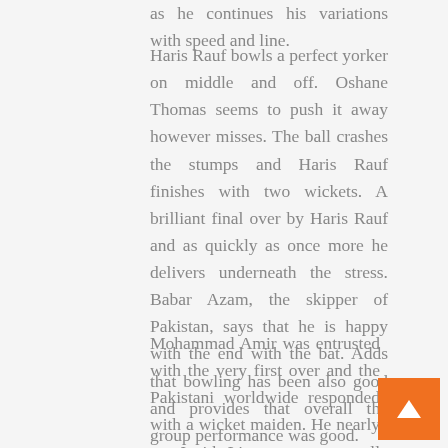as he continues his variations with speed and line.
Haris Rauf bowls a perfect yorker on middle and off. Oshane Thomas seems to push it away however misses. The ball crashes the stumps and Haris Rauf finishes with two wickets. A brilliant final over by Haris Rauf and as quickly as once more he delivers underneath the stress. Babar Azam, the skipper of Pakistan, says that he is happy with the end with the bat. Adds that bowling has been also good and provides that overall the group performance was good.
Mohammad Amir was entrusted with the very first over and the Pakistani worldwide responded with a wicket maiden. He nearly got Janith Liyanage out as well but the evaluate showed that it was missing off stump. The commentary isn't out there for this